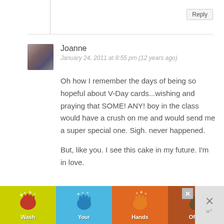Reply
Joanne
January 24, 2011 at 8:55 pm (12 years ago)
Oh how I remember the days of being so hopeful about V-Day cards...wishing and praying that SOME! ANY! boy in the class would have a crush on me and would send me a super special one. Sigh. never happened.

But, like you. I see this cake in my future. I’m in love.
Reply
Julie @ Willow Bird Baking
January 25, 2011 at 10:45 am (12 years
[Figure (infographic): Ad banner: Wash Your Hands Often — colorful hand-washing public health advertisement with four colored sections (yellow-green, blue, orange, brown) each showing a hand illustration and a word: Wash, Your, Hands, Often. Close button visible.]